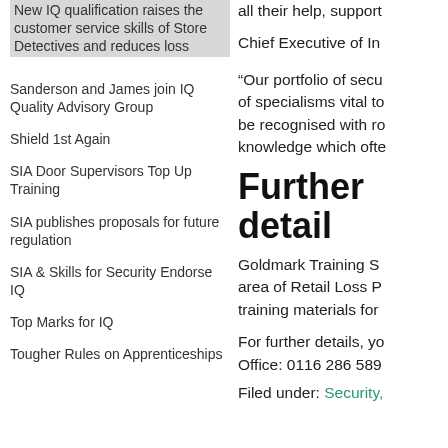New IQ qualification raises the customer service skills of Store Detectives and reduces loss
Sanderson and James join IQ Quality Advisory Group
Shield 1st Again
SIA Door Supervisors Top Up Training
SIA publishes proposals for future regulation
SIA & Skills for Security Endorse IQ
Top Marks for IQ
Tougher Rules on Apprenticeships
all their help, support
Chief Executive of In
“Our portfolio of secu of specialisms vital to be recognised with ro knowledge which ofte
Further detail
Goldmark Training S area of Retail Loss P training materials for
For further details, yo Office: 0116 286 589
Filed under: Security,